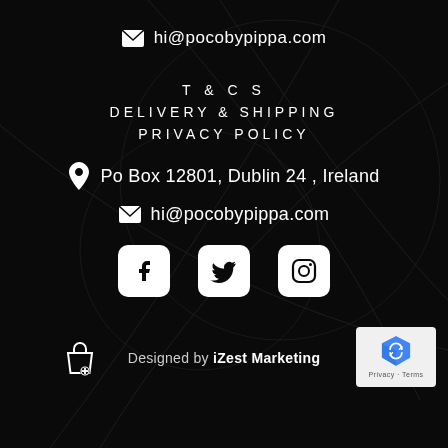hi@pocobypippa.com
T & C S
DELIVERY & SHIPPING
PRIVACY POLICY
Po Box 12801, Dublin 24 , Ireland
hi@pocobypippa.com
[Figure (other): Social media icons: Facebook, Twitter, Instagram]
Designed by iZest Marketing
[Figure (other): Google reCAPTCHA badge with Privacy and Terms text]